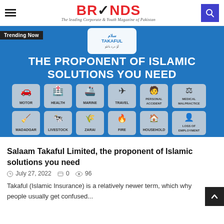BRANDS — The leading Corporate & Youth Magazine of Pakistan
[Figure (infographic): Salaam Takaful banner showing 'THE PROPONENT OF ISLAMIC SOLUTIONS YOU NEED' with 12 insurance product icons: Motor, Health, Marine, Travel, Personal Accident, Medical Malpractice, Madadgar, Livestock, Zarai, Fire, Household, Loss of Employment. Blue background with Salam Takaful logo at top. 'Trending Now' badge in top-left.]
Salaam Takaful Limited, the proponent of Islamic solutions you need
July 27, 2022   0   96
Takaful (Islamic Insurance) is a relatively newer term, which why people usually get confused...